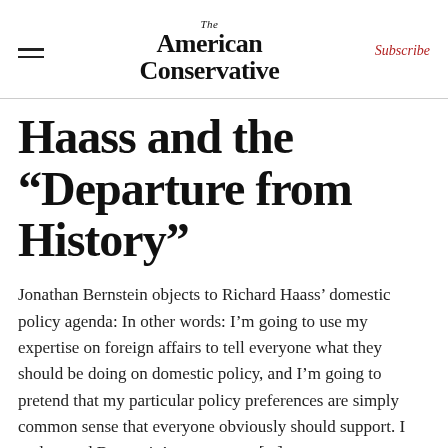The American Conservative | Subscribe
Haass and the “Departure from History”
Jonathan Bernstein objects to Richard Haass’ domestic policy agenda: In other words: I’m going to use my expertise on foreign affairs to tell everyone what they should be doing on domestic policy, and I’m going to pretend that my particular policy preferences are simply common sense that everyone obviously should support. I understand Bernstein’s annoyance, [...]